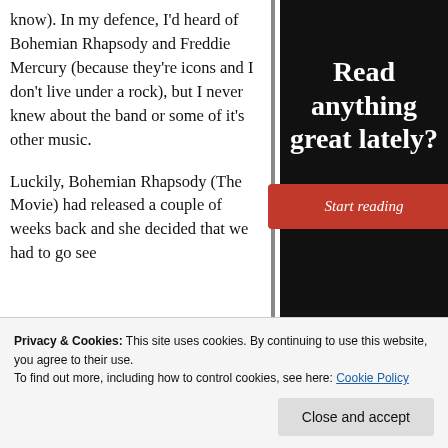know). In my defence, I'd heard of Bohemian Rhapsody and Freddie Mercury (because they're icons and I don't live under a rock), but I never knew about the band or some of it's other music.

Luckily, Bohemian Rhapsody (The Movie) had released a couple of weeks back and she decided that we had to go see
[Figure (infographic): Black sidebar advertisement reading 'Read anything great lately?' with a red 'Start reading' button]
Privacy & Cookies: This site uses cookies. By continuing to use this website, you agree to their use.
To find out more, including how to control cookies, see here: Cookie Policy
Close and accept